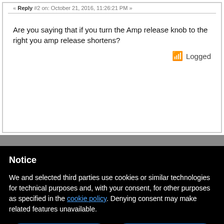« Reply #2 on: October 21, 2016, 11:26:21 PM »
Are you saying that if you turn the Amp release knob to the right you amp release shortens?
Logged
Notice
We and selected third parties use cookies or similar technologies for technical purposes and, with your consent, for other purposes as specified in the cookie policy. Denying consent may make related features unavailable.
Reject
Accept
Learn more and customize